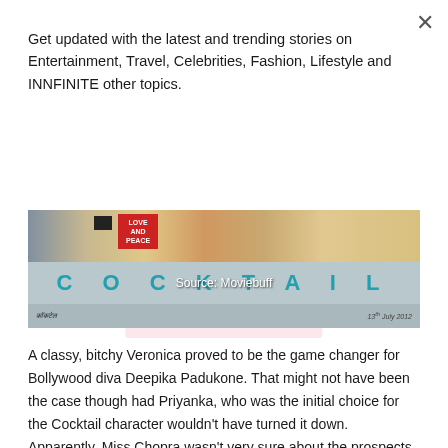Get updated with the latest and trending stories on Entertainment, Travel, Celebrities, Fashion, Lifestyle and INNFINITE other topics.
Subscribe
[Figure (photo): Cocktail (2012 Bollywood film) movie poster/banner showing 'LOVE AND PEACE' text, the word COCKTAIL in large teal letters, and 'Source: Moviebuff' overlay text]
A classy, bitchy Veronica proved to be the game changer for Bollywood diva Deepika Padukone. That might not have been the case though had Priyanka, who was the initial choice for the Cocktail character wouldn't have turned it down. Apparently, Miss Chopra wasn't very sure about the prospects of the character in the film.